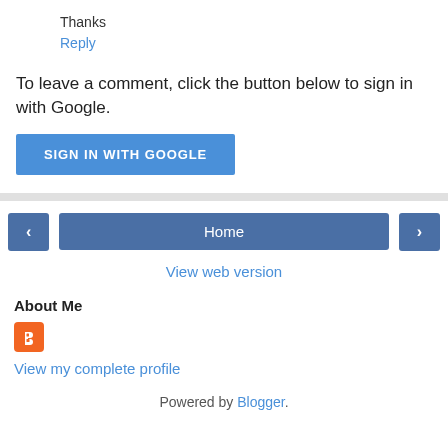Thanks
Reply
To leave a comment, click the button below to sign in with Google.
[Figure (other): Blue 'SIGN IN WITH GOOGLE' button]
[Figure (other): Navigation bar with left arrow, Home button, and right arrow buttons]
View web version
About Me
[Figure (logo): Orange Blogger icon/logo]
View my complete profile
Powered by Blogger.